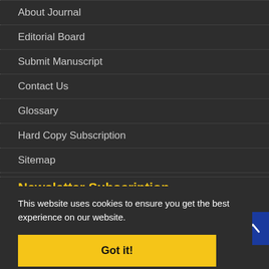About Journal
Editorial Board
Submit Manuscript
Contact Us
Glossary
Hard Copy Subscription
Sitemap
Latest News
Newsletter Subscription
This website uses cookies to ensure you get the best experience on our website.
Got it!
ive the
Subscribe